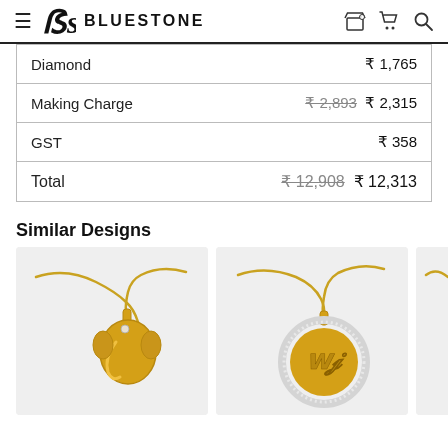BLUESTONE
| Item | Price |
| --- | --- |
| Diamond | ₹ 1,765 |
| Making Charge | ₹ 2,893  ₹ 2,315 |
| GST | ₹ 358 |
| Total | ₹ 12,908  ₹ 12,313 |
Similar Designs
[Figure (photo): Gold pendant necklace with stylized Ganesh design on a snake chain, shown on light grey background]
[Figure (photo): Gold circular pendant with diamond-encrusted ring and cursive initials design on a snake chain, shown on light grey background]
[Figure (photo): Partial view of third gold pendant necklace on light grey background]